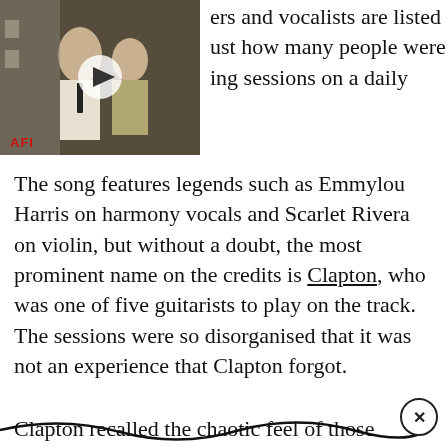[Figure (screenshot): Video thumbnail showing a vintage scene with two people, with a play button overlay and AFI logo watermark in the lower left.]
ers and vocalists are listed
ust how many people were
ing sessions on a daily
The song features legends such as Emmylou Harris on harmony vocals and Scarlet Rivera on violin, but without a doubt, the most prominent name on the credits is Clapton, who was one of five guitarists to play on the track. The sessions were so disorganised that it was not an experience that Clapton forgot.
Clapton recalled the chaotic feel of those sessions years later. “Dylan was trying to [...] make music with new people,” he explained. “He was just driving around, picking musicians up and bringing th